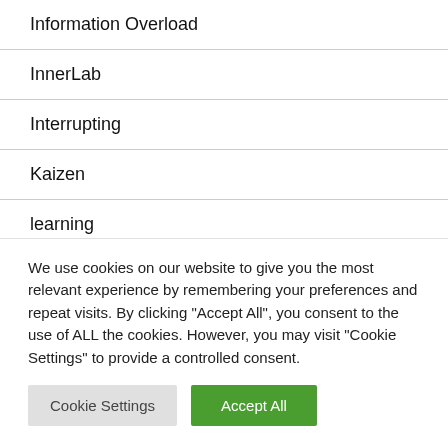Information Overload
InnerLab
Interrupting
Kaizen
learning
Listing
M…
We use cookies on our website to give you the most relevant experience by remembering your preferences and repeat visits. By clicking "Accept All", you consent to the use of ALL the cookies. However, you may visit "Cookie Settings" to provide a controlled consent.